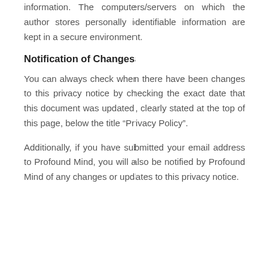information. The computers/servers on which the author stores personally identifiable information are kept in a secure environment.
Notification of Changes
You can always check when there have been changes to this privacy notice by checking the exact date that this document was updated, clearly stated at the top of this page, below the title “Privacy Policy”.
Additionally, if you have submitted your email address to Profound Mind, you will also be notified by Profound Mind of any changes or updates to this privacy notice.